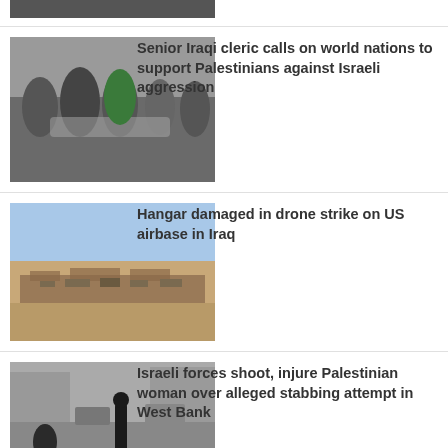[Figure (photo): Partial view of top news item photo (cropped at top)]
Senior Iraqi cleric calls on world nations to support Palestinians against Israeli aggression
[Figure (photo): Aerial or distant view of airbase or desert landscape]
Hangar damaged in drone strike on US airbase in Iraq
[Figure (photo): Street scene showing Israeli forces and Palestinian woman]
Israeli forces shoot, injure Palestinian woman over alleged stabbing attempt in West Bank